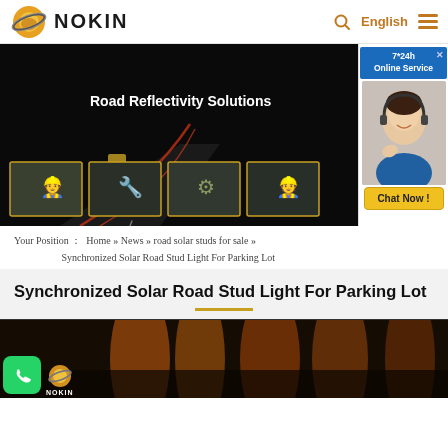[Figure (logo): NOKIN company logo with Saturn-like orange globe icon and NOKIN text]
[Figure (photo): Website banner showing dark road with light trails and text 'Road Reflectivity Solutions' with four thumbnail photos of workers and products, and a customer service chat popup on the right]
Your Position : Home » News » road solar studs for sale » Synchronized Solar Road Stud Light For Parking Lot
Synchronized Solar Road Stud Light For Parking Lot
[Figure (photo): Bottom portion showing orange illuminated road studs at night with NOKIN watermark logo and WhatsApp button]